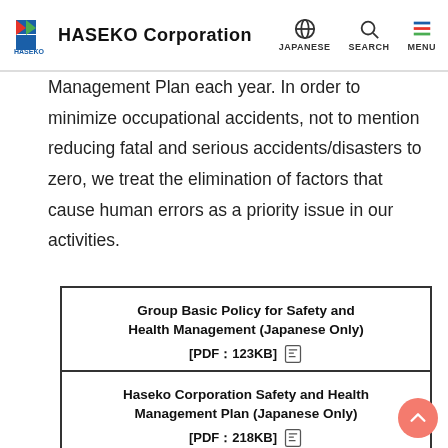HASEKO Corporation — JAPANESE | SEARCH | MENU
Management Plan each year. In order to minimize occupational accidents, not to mention reducing fatal and serious accidents/disasters to zero, we treat the elimination of factors that cause human errors as a priority issue in our activities.
Group Basic Policy for Safety and Health Management (Japanese Only) [PDF：123KB]
Haseko Corporation Safety and Health Management Plan (Japanese Only) [PDF：218KB]